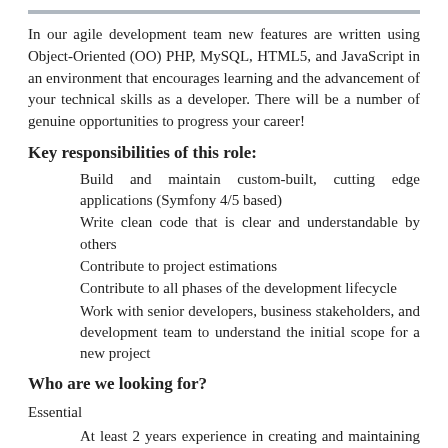In our agile development team new features are written using Object-Oriented (OO) PHP, MySQL, HTML5, and JavaScript in an environment that encourages learning and the advancement of your technical skills as a developer. There will be a number of genuine opportunities to progress your career!
Key responsibilities of this role:
Build and maintain custom-built, cutting edge applications (Symfony 4/5 based)
Write clean code that is clear and understandable by others
Contribute to project estimations
Contribute to all phases of the development lifecycle
Work with senior developers, business stakeholders, and development team to understand the initial scope for a new project
Who are we looking for?
Essential
At least 2 years experience in creating and maintaining object-oriented PHP7 based systems
An understanding of the MVC approach to development
Experience in working with MySQL (we're using v8 currently)
Great knowledge of web technologies including HTML, CSS,